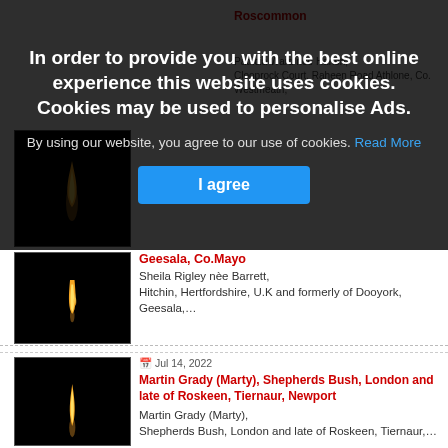[Figure (photo): Cookie consent overlay banner with dark semi-transparent background over a webpage listing obituary/death notices. Two candle flame images are partially visible. The overlay contains a cookie notice with bold white text and a blue 'I agree' button.]
In order to provide you with the best online experience this website uses cookies. Cookies may be used to personalise Ads.
By using our website, you agree to our use of cookies. Read More
I agree
Geesala, Co.Mayo
Sheila Rigley nèe Barrett, Hitchin, Hertfordshire, U.K and formerly of Dooyork, Geesala,…
Jul 14, 2022
Martin Grady (Marty), Shepherds Bush, London and late of Roskeen, Tiernaur, Newport
Martin Grady (Marty), Shepherds Bush, London and late of Roskeen, Tiernaur,…